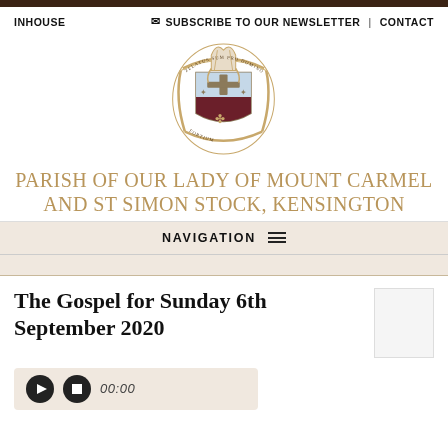INHOUSE   ✉ SUBSCRIBE TO OUR NEWSLETTER | CONTACT
[Figure (logo): Coat of arms of the Diocese of Kensington — circular heraldic crest with cross, stars, and bishop's mitre, surrounded by a motto banner]
PARISH OF OUR LADY OF MOUNT CARMEL AND ST SIMON STOCK, KENSINGTON
NAVIGATION
The Gospel for Sunday 6th September 2020
[Figure (other): Audio player controls showing play button, stop button, and time display reading 00:00]